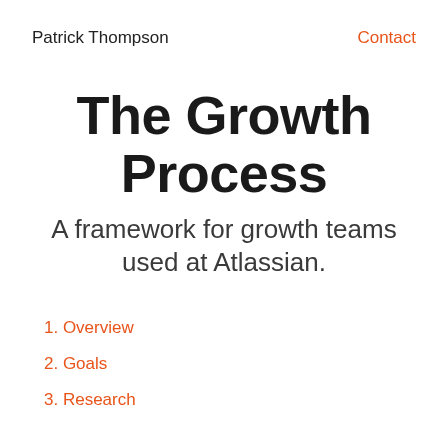Patrick Thompson
Contact
The Growth Process
A framework for growth teams used at Atlassian.
1. Overview
2. Goals
3. Research